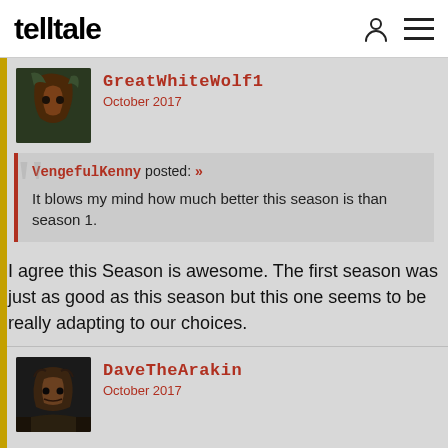telltale
GreatWhiteWolf1
October 2017
VengefulKenny posted: »
It blows my mind how much better this season is than season 1.
I agree this Season is awesome. The first season was just as good as this season but this one seems to be really adapting to our choices.
DaveTheArakin
October 2017